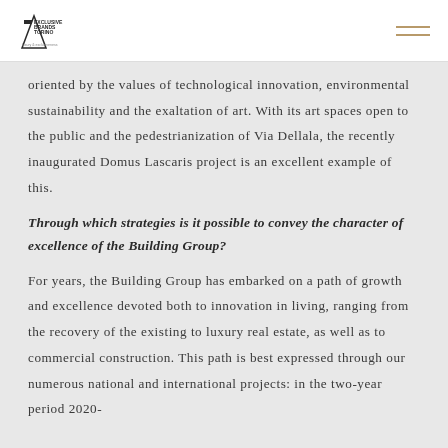Exclusive Brands Torino [logo] [hamburger menu]
oriented by the values of technological innovation, environmental sustainability and the exaltation of art. With its art spaces open to the public and the pedestrianization of Via Dellala, the recently inaugurated Domus Lascaris project is an excellent example of this.
Through which strategies is it possible to convey the character of excellence of the Building Group?
For years, the Building Group has embarked on a path of growth and excellence devoted both to innovation in living, ranging from the recovery of the existing to luxury real estate, as well as to commercial construction. This path is best expressed through our numerous national and international projects: in the two-year period 2020-